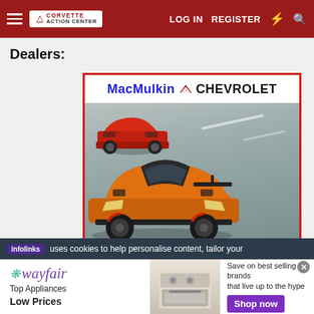Corvette Action Center — LOG IN  REGISTER
Dealers:
[Figure (photo): MacMulkin Chevrolet dealer advertisement showing an orange Corvette Z06 in the foreground and a red Corvette convertible in the background on a race track.]
infolinks uses cookies to help personalise content, tailor your
[Figure (infographic): Wayfair advertisement: Top Appliances Low Prices, with image of a stove/oven, and text 'Save on best selling brands that live up to the hype' with a purple 'Shop now' button.]